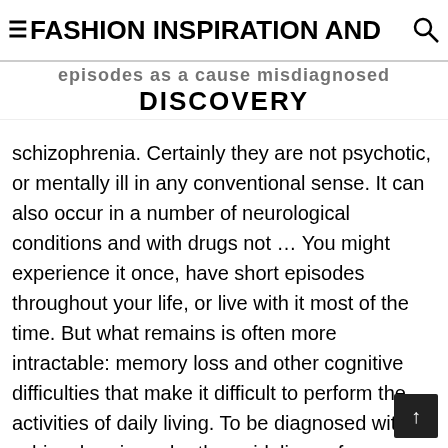≡FASHION INSPIRATION AND DISCOVERY
episodes as a cause misdiagnosed schizophrenia. Certainly they are not psychotic, or mentally ill in any conventional sense. It can also occur in a number of neurological conditions and with drugs not … You might experience it once, have short episodes throughout your life, or live with it most of the time. But what remains is often more intractable: memory loss and other cognitive difficulties that make it difficult to perform the activities of daily living. To be diagnosed with schizophrenia under the guidelines of psychiatry's handbook,